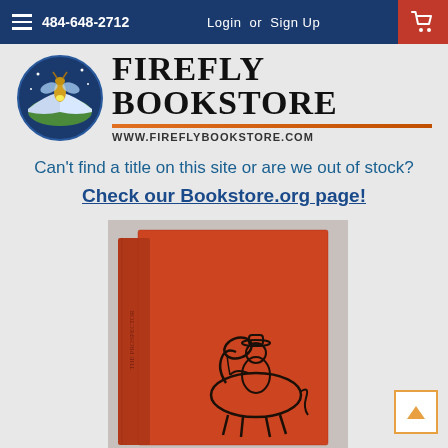484-648-2712   Login or Sign Up
[Figure (logo): Firefly Bookstore logo with firefly insect illustration and text FIREFLY BOOKSTORE www.fireflybookstore.com]
Can't find a title on this site or are we out of stock?
Check our Bookstore.org page!
[Figure (photo): Orange/red cloth-bound vintage hardcover book shown at an angle, with a line drawing of a person on horseback on the cover]